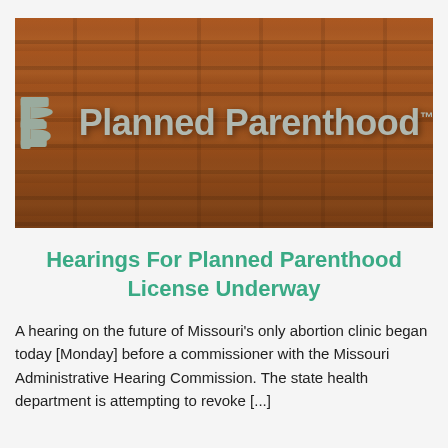[Figure (photo): Photograph of a brick wall with a large Planned Parenthood logo (icon and text) mounted on it in grey/silver lettering]
Hearings For Planned Parenthood License Underway
A hearing on the future of Missouri's only abortion clinic began today [Monday] before a commissioner with the Missouri Administrative Hearing Commission. The state health department is attempting to revoke […]